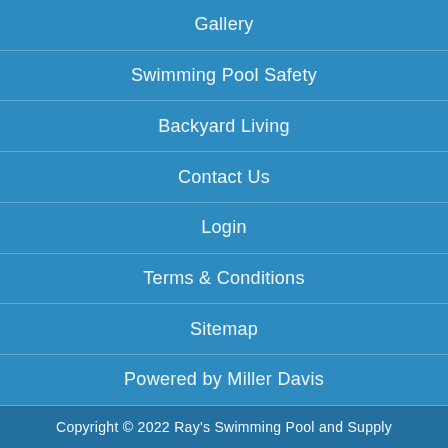Gallery
Swimming Pool Safety
Backyard Living
Contact Us
Login
Terms & Conditions
Sitemap
Powered by Miller Davis
Copyright © 2022 Ray's Swimming Pool and Supply